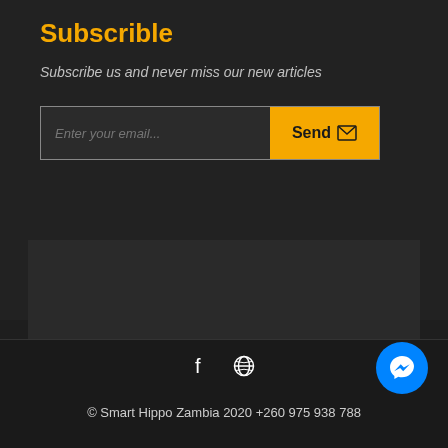Subscrible
Subscribe us and never miss our new articles
[Figure (screenshot): Email subscription form with text input 'Enter your email...' and a yellow Send button with envelope icon]
© Smart Hippo Zambia 2020 +260 975 938 788
[Figure (other): Blue circular Messenger chat button in bottom right corner]